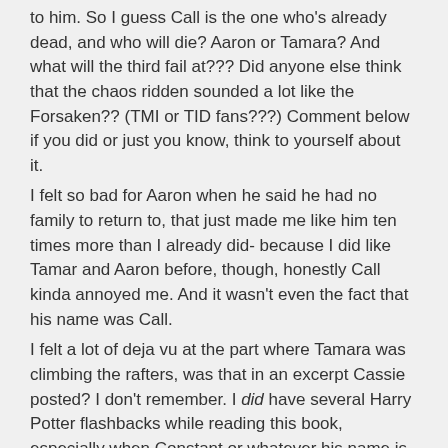to him. So I guess Call is the one who's already dead, and who will die? Aaron or Tamara? And what will the third fail at??? Did anyone else think that the chaos ridden sounded a lot like the Forsaken?? (TMI or TID fans???) Comment below if you did or just you know, think to yourself about it.
I felt so bad for Aaron when he said he had no family to return to, that just made me like him ten times more than I already did- because I did like Tamar and Aaron before, though, honestly Call kinda annoyed me. And it wasn't even the fact that his name was Call.
I felt a lot of deja vu at the part where Tamara was climbing the rafters, was that in an excerpt Cassie posted? I don't remember. I did have several Harry Potter flashbacks while reading this book, especially when Constant or whatever his name is was living inside Callum. That was a huge monumental plot twist. Did any of you expect that? Because I didn't.
Sorry for the short reviews recently! I just didn't have too many notes. Friend me on goodreads to keep up with what I'm reading ;).